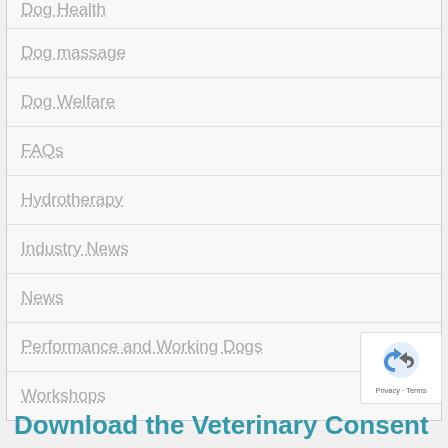Dog massage
Dog Welfare
FAQs
Hydrotherapy
Industry News
News
Performance and Working Dogs
Workshops
[Figure (logo): reCAPTCHA badge with Privacy and Terms links]
Download the Veterinary Consent